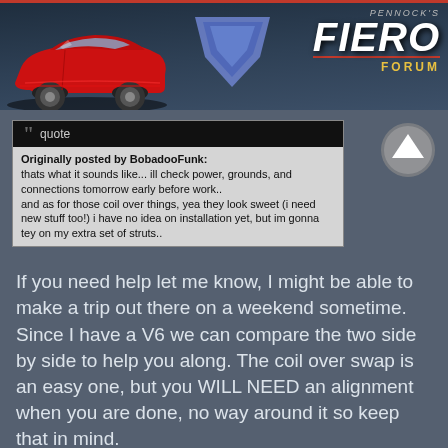[Figure (logo): Pennock's Fiero Forum header with red Fiero car illustration and blue chevron logo]
Originally posted by BobadooFunk:
thats what it sounds like... ill check power, grounds, and connections tomorrow early before work..
and as for those coil over things, yea they look sweet (i need new stuff too!) i have no idea on installation yet, but im gonna tey on my extra set of struts..
If you need help let me know, I might be able to make a trip out there on a weekend sometime. Since I have a V6 we can compare the two side by side to help you along. The coil over swap is an easy one, but you WILL NEED an alignment when you are done, no way around it so keep that in mind.
03:00 AM
BobadooFunk
5436 posts
Member since Jun 2003